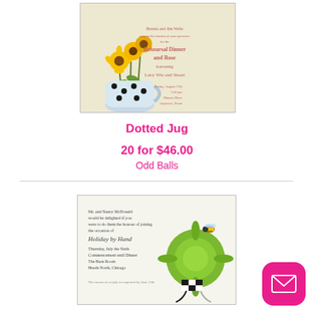[Figure (photo): Invitation card with sunflowers in a polka-dot jug and text about Rehearsal Dinner and Rose]
Dotted Jug
20 for $46.00
Odd Balls
[Figure (photo): Invitation card with green flower, black and white checkered bow, bee, and cursive text for Holiday by Hand]